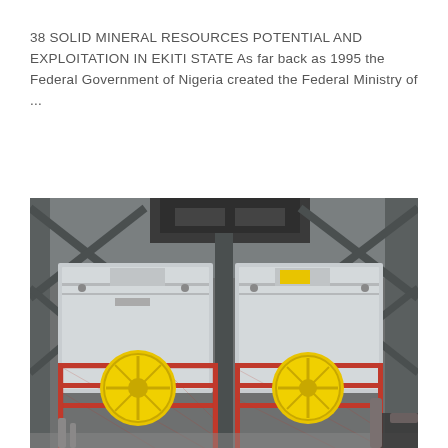38 SOLID MINERAL RESOURCES POTENTIAL AND EXPLOITATION IN EKITI STATE As far back as 1995 the Federal Government of Nigeria created the Federal Ministry of ...
[Figure (photo): Industrial mining/processing equipment inside a large facility — two large white rectangular machines with yellow circular covers/wheels, surrounded by red metal safety barriers/cages, with grey steel structural framework and dark overhead machinery.]